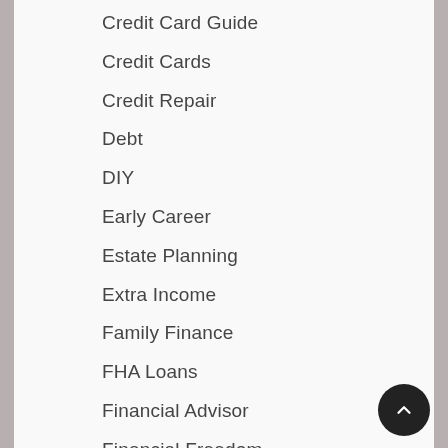Credit Card Guide
Credit Cards
Credit Repair
Debt
DIY
Early Career
Estate Planning
Extra Income
Family Finance
FHA Loans
Financial Advisor
Financial Freedom
Financial Planning
Financing A Home
Find An Apartment
Finishing Your Degree
First Time Home Buyers
Flood Insurance